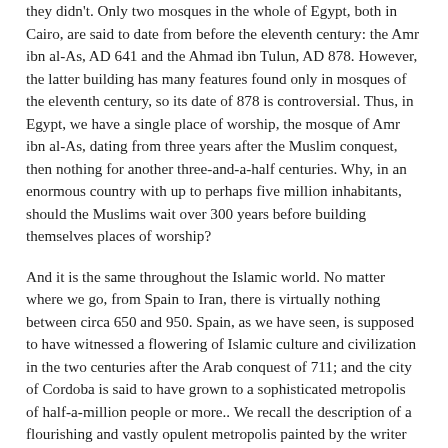they didn't. Only two mosques in the whole of Egypt, both in Cairo, are said to date from before the eleventh century: the Amr ibn al-As, AD 641 and the Ahmad ibn Tulun, AD 878. However, the latter building has many features found only in mosques of the eleventh century, so its date of 878 is controversial. Thus, in Egypt, we have a single place of worship, the mosque of Amr ibn al-As, dating from three years after the Muslim conquest, then nothing for another three-and-a-half centuries. Why, in an enormous country with up to perhaps five million inhabitants, should the Muslims wait over 300 years before building themselves places of worship?
And it is the same throughout the Islamic world. No matter where we go, from Spain to Iran, there is virtually nothing between circa 650 and 950. Spain, as we have seen, is supposed to have witnessed a flowering of Islamic culture and civilization in the two centuries after the Arab conquest of 711; and the city of Cordoba is said to have grown to a sophisticated metropolis of half-a-million people or more.. We recall the description of a flourishing and vastly opulent metropolis painted by the writer quoted above. Yet the same